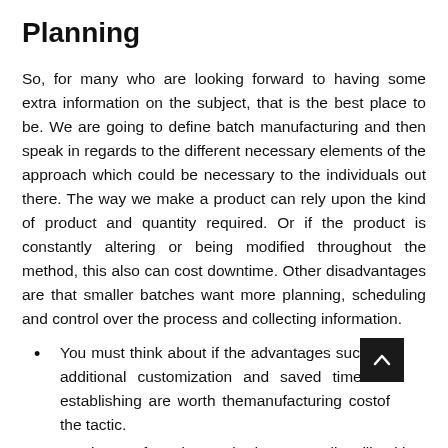Planning
So, for many who are looking forward to having some extra information on the subject, that is the best place to be. We are going to define batch manufacturing and then speak in regards to the different necessary elements of the approach which could be necessary to the individuals out there. The way we make a product can rely upon the kind of product and quantity required. Or if the product is constantly altering or being modified throughout the method, this also can cost downtime. Other disadvantages are that smaller batches want more planning, scheduling and control over the process and collecting information.
You must think about if the advantages such as additional customization and saved time on establishing are worth themanufacturing costof the tactic.
Batch manufacturing methods are usually utilized in